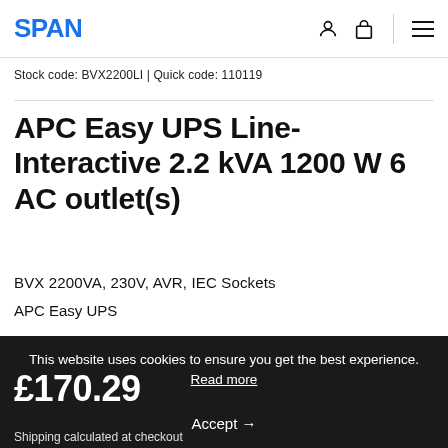SPAN
Stock code: BVX2200LI | Quick code: 110119
APC Easy UPS Line-Interactive 2.2 kVA 1200 W 6 AC outlet(s)
BVX 2200VA, 230V, AVR, IEC Sockets
APC Easy UPS
This website uses cookies to ensure you get the best experience. Read more
£170.29
Accept →
Shipping calculated at checkout